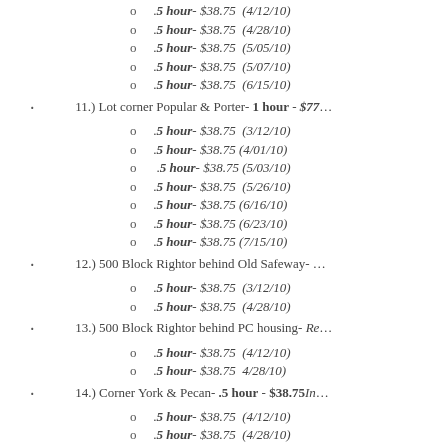.5 hour- $38.75 (4/12/10)
.5 hour- $38.75 (4/28/10)
.5 hour- $38.75 (5/05/10)
.5 hour- $38.75 (5/07/10)
.5 hour- $38.75 (6/15/10)
11.) Lot corner Popular & Porter- 1 hour - $77...
.5 hour- $38.75 (3/12/10)
.5 hour- $38.75 (4/01/10)
.5 hour- $38.75 (5/03/10)
.5 hour- $38.75 (5/26/10)
.5 hour- $38.75 (6/16/10)
.5 hour- $38.75 (6/23/10)
.5 hour- $38.75 (7/15/10)
12.) 500 Block Rightor behind Old Safeway- ...
.5 hour- $38.75 (3/12/10)
.5 hour- $38.75 (4/28/10)
13.) 500 Block Rightor behind PC housing- Re...
.5 hour- $38.75 (4/12/10)
.5 hour- $38.75 4/28/10)
14.) Corner York & Pecan- .5 hour - $38.75In...
.5 hour- $38.75 (4/12/10)
.5 hour- $38.75 (4/28/10)
.5 hour- $38.75 (5/26/10)
.5 hour- $38.75 (6/16/10)